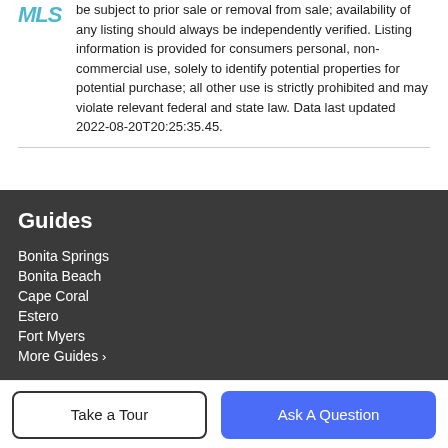be subject to prior sale or removal from sale; availability of any listing should always be independently verified. Listing information is provided for consumers personal, non-commercial use, solely to identify potential properties for potential purchase; all other use is strictly prohibited and may violate relevant federal and state law. Data last updated 2022-08-20T20:25:35.45.
Guides
Bonita Springs
Bonita Beach
Cape Coral
Estero
Fort Myers
More Guides >
Take a Tour | Ask A Question